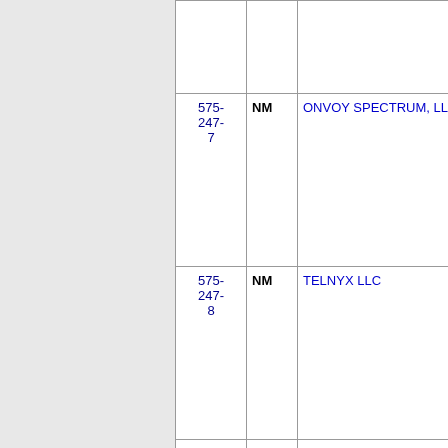| Number | State | Company | Code |
| --- | --- | --- | --- |
| 575-247-7 | NM | ONVOY SPECTRUM, LLC | 624H … |
| 575-247-8 | NM | TELNYX LLC | 073H … |
| 575-247-9 | NM | ONVOY SPECTRUM, LLC | 624H … |